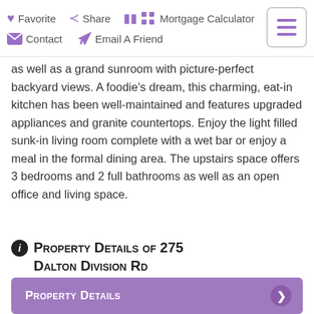Favorite  Share  Mortgage Calculator  Contact  Email A Friend
as well as a grand sunroom with picture-perfect backyard views. A foodie's dream, this charming, eat-in kitchen has been well-maintained and features upgraded appliances and granite countertops. Enjoy the light filled sunk-in living room complete with a wet bar or enjoy a meal in the formal dining area. The upstairs space offers 3 bedrooms and 2 full bathrooms as well as an open office and living space.
Property Details of 275 Dalton Division Rd
Property Details